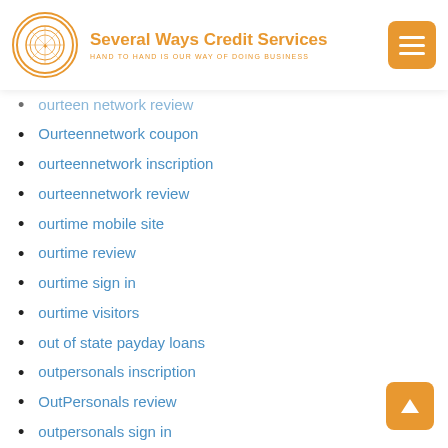Several Ways Credit Services — HAND TO HAND IS OUR WAY OF DOING BUSINESS
ourteen network review
Ourteennetwork coupon
ourteennetwork inscription
ourteennetwork review
ourtime mobile site
ourtime review
ourtime sign in
ourtime visitors
out of state payday loans
outpersonals inscription
OutPersonals review
outpersonals sign in
Overseas Bride
pak girl for marriage
pakistani women brides new zealand
Paltalk abbonamento
Paltalk review
panama women
papercheck payday loan